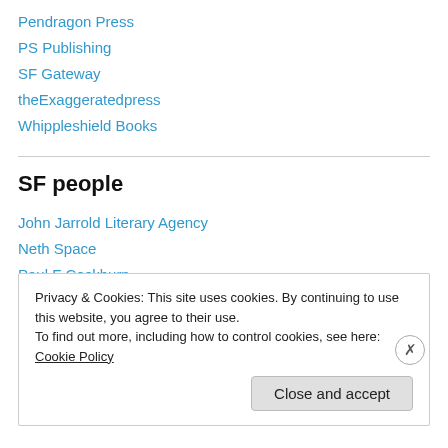Pendragon Press
PS Publishing
SF Gateway
theExaggeratedpress
Whippleshield Books
SF people
John Jarrold Literary Agency
Neth Space
Paul F Cockburn
SF Signal
Privacy & Cookies: This site uses cookies. By continuing to use this website, you agree to their use.
To find out more, including how to control cookies, see here: Cookie Policy
Close and accept